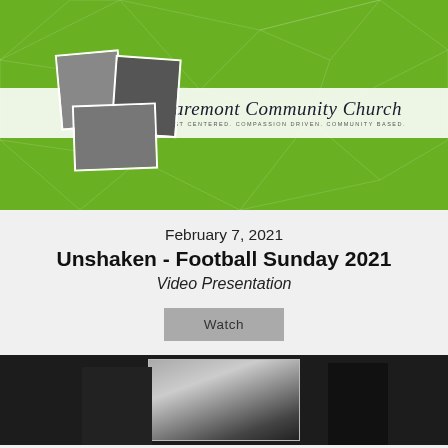[Figure (photo): Claremont Community Church banner with green geometric background, three black-and-white group photos overlapping, and a white horizontal bar with the church name in cursive script and tagline 'CHRIST CENTERED. COMPASSION DRIVEN. COMMUNITY BASED.']
February 7, 2021
Unshaken - Football Sunday 2021
Video Presentation
Watch
[Figure (photo): Dark background with a partially visible black-and-white photo of a person, cropped at bottom of page]